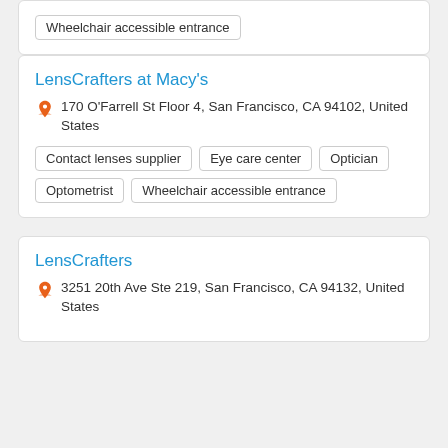Wheelchair accessible entrance
LensCrafters at Macy's
170 O'Farrell St Floor 4, San Francisco, CA 94102, United States
Contact lenses supplier
Eye care center
Optician
Optometrist
Wheelchair accessible entrance
LensCrafters
3251 20th Ave Ste 219, San Francisco, CA 94132, United States